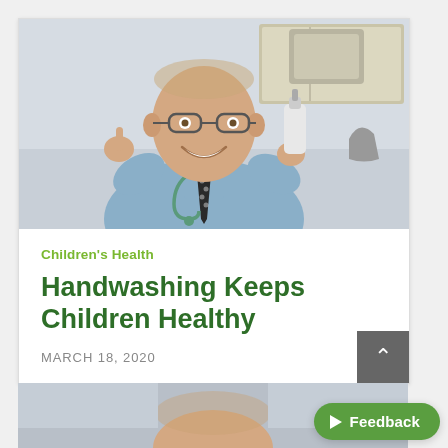[Figure (photo): A smiling doctor in a blue shirt and patterned tie holding up a finger and a hand sanitizer bottle in a medical exam room. A stethoscope is around his neck.]
Children's Health
Handwashing Keeps Children Healthy
MARCH 18, 2020
[Figure (photo): Partial photo at bottom of page showing the top of a person's head in a medical setting.]